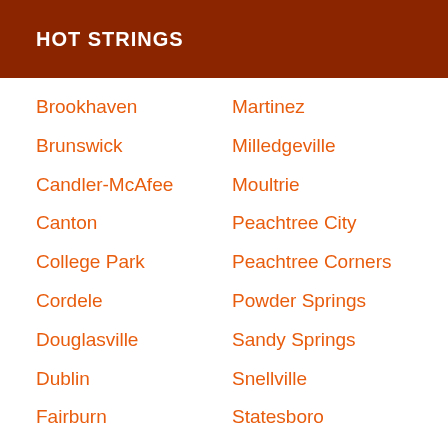HOT STRINGS
Brookhaven
Brunswick
Candler-McAfee
Canton
College Park
Cordele
Douglasville
Dublin
Fairburn
Lawrenceville
Martinez
Milledgeville
Moultrie
Peachtree City
Peachtree Corners
Powder Springs
Sandy Springs
Snellville
Statesboro
Vidalia